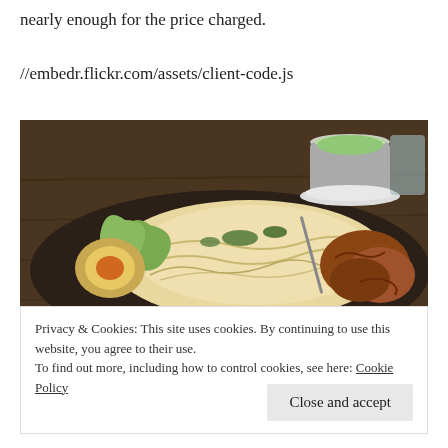nearly enough for the price charged.
//embedr.flickr.com/assets/client-code.js
[Figure (photo): A plate of noodles with a soft-boiled egg, bok choy, and fried chicken pieces on a dark tray, with a green drink in a cup on a plate visible in the background, on a wooden table.]
Privacy & Cookies: This site uses cookies. By continuing to use this website, you agree to their use.
To find out more, including how to control cookies, see here: Cookie Policy
Close and accept